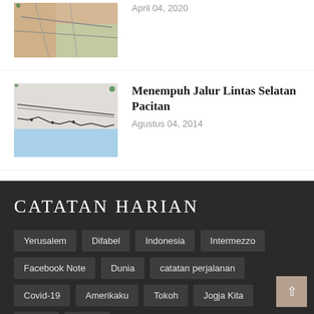[Figure (map): Map thumbnail (partially visible at top), tan/green city map]
April 04, 2020
Menempuh Jalur Lintas Selatan Pacitan
Agustus 04, 2014
[Figure (map): Map thumbnail showing coastal route, blue sea at bottom]
Cara Cek Data NIK KK Bocor
September 08, 2021
[Figure (table-as-image): Screenshot of a data table with rows and columns]
CATATAN HARIAN
Yerusalem
Difabel
Indonesia
Intermezzo
Facebook Note
Dunia
catatan perjalanan
Covid-19
Amerikaku
Tokoh
Jogja Kita
Travel
Ndeso